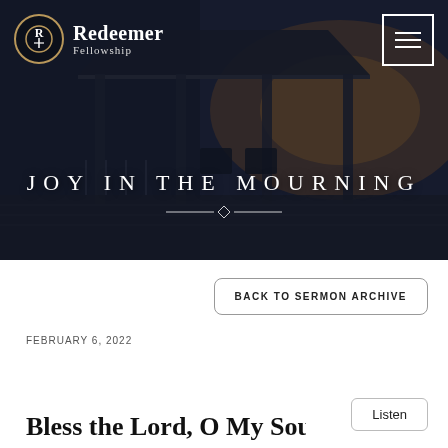[Figure (screenshot): Hero banner image of a gazebo/pier at sunset with dark overlay. Shows Redeemer Fellowship logo top-left and hamburger menu icon top-right. Large white text reads 'JOY IN THE MOURNING' with a diamond divider beneath.]
JOY IN THE MOURNING
BACK TO SERMON ARCHIVE
FEBRUARY 6, 2022
Listen
Bless the Lord, O My Soul